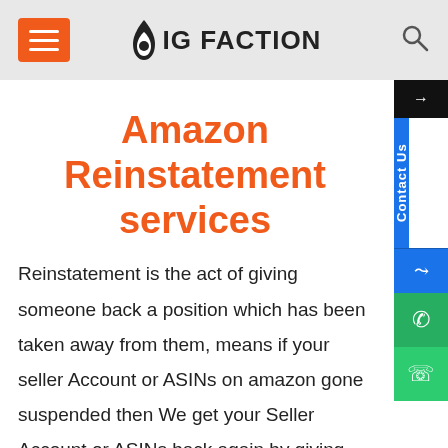BIG FACTION
Amazon Reinstatement services
Reinstatement is the act of giving someone back a position which has been taken away from them, means if your seller Account or ASINs on amazon gone suspended then We get your Seller Account or ASINs back again by giving our best Knowledge and Services